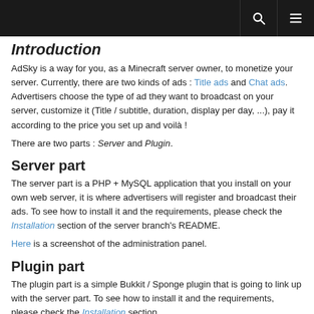[navigation bar with search and menu icons]
Introduction
AdSky is a way for you, as a Minecraft server owner, to monetize your server. Currently, there are two kinds of ads : Title ads and Chat ads. Advertisers choose the type of ad they want to broadcast on your server, customize it (Title / subtitle, duration, display per day, ...), pay it according to the price you set up and voilà !
There are two parts : Server and Plugin.
Server part
The server part is a PHP + MySQL application that you install on your own web server, it is where advertisers will register and broadcast their ads. To see how to install it and the requirements, please check the Installation section of the server branch's README.
Here is a screenshot of the administration panel.
Plugin part
The plugin part is a simple Bukkit / Sponge plugin that is going to link up with the server part. To see how to install it and the requirements, please check the Installation section.
Features